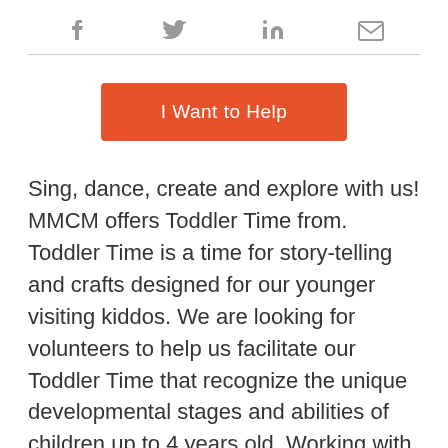[Figure (infographic): Social share icons row: Facebook (f), Twitter (bird), LinkedIn (in), Email (envelope) — all in grey]
[Figure (infographic): Orange call-to-action button labeled 'I Want to Help']
Sing, dance, create and explore with us! MMCM offers Toddler Time from. Toddler Time is a time for story-telling and crafts designed for our younger visiting kiddos. We are looking for volunteers to help us facilitate our Toddler Time that recognize the unique developmental stages and abilities of children up to 4 years old. Working with our Play Educator, volunteers facilitating Toddler Time will choose stories and develop crafts that will help our visiting